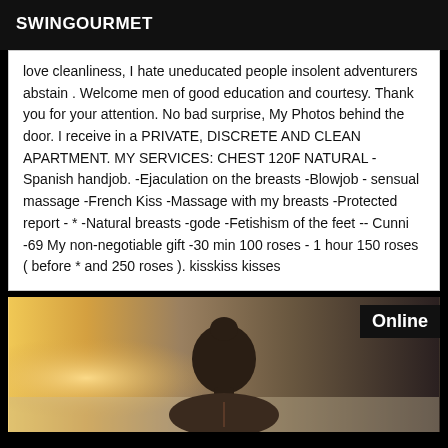SWINGOURMET
love cleanliness, I hate uneducated people insolent adventurers abstain . Welcome men of good education and courtesy. Thank you for your attention. No bad surprise, My Photos behind the door. I receive in a PRIVATE, DISCRETE AND CLEAN APARTMENT. MY SERVICES: CHEST 120F NATURAL -Spanish handjob. -Ejaculation on the breasts -Blowjob - sensual massage -French Kiss -Massage with my breasts -Protected report - * -Natural breasts -gode -Fetishism of the feet -- Cunni -69 My non-negotiable gift -30 min 100 roses - 1 hour 150 roses ( before * and 250 roses ). kisskiss kisses
[Figure (photo): Photo of a person seen from behind, sitting, with dark hair, warm ambient light in background. An 'Online' badge appears in the top-right corner.]